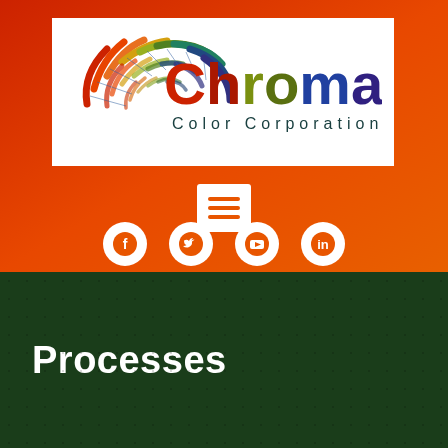[Figure (logo): Chroma Color Corporation logo — color fan/swatch arc graphic on the left, 'Chroma' in large multicolor text (C in red, h in dark red, r in olive green, o in dark olive, m in blue, a in dark blue-purple) and 'Color Corporation' in smaller spaced dark teal text below, on white background]
[Figure (infographic): White square icon with three orange horizontal lines (hamburger/menu icon) on red-orange gradient background]
[Figure (infographic): Four white circle social media icons in a row: Facebook (f), Twitter (bird), YouTube (play triangle), LinkedIn (in)]
Processes